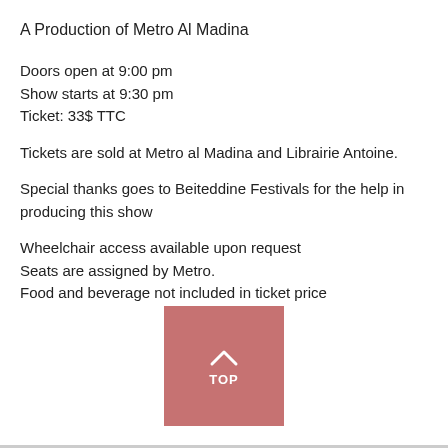A Production of Metro Al Madina
Doors open at 9:00 pm
Show starts at 9:30 pm
Ticket: 33$ TTC
Tickets are sold at Metro al Madina and Librairie Antoine.
Special thanks goes to Beiteddine Festivals for the help in producing this show
Wheelchair access available upon request
Seats are assigned by Metro.
Food and beverage not included in ticket price
[Figure (other): A rose/mauve colored square button with an upward chevron arrow and the word TOP in white text, serving as a scroll-to-top navigation button]